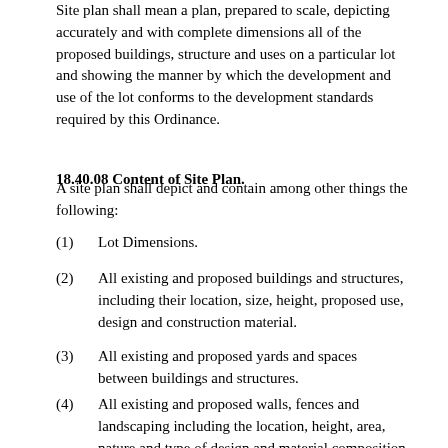Site plan shall mean a plan, prepared to scale, depicting accurately and with complete dimensions all of the proposed buildings, structure and uses on a particular lot and showing the manner by which the development and use of the lot conforms to the development standards required by this Ordinance.
18.40.08 Content of Site Plan.
A site plan shall depict and contain among other things the following:
(1)    Lot Dimensions.
(2)    All existing and proposed buildings and structures, including their location, size, height, proposed use, design and construction material.
(3)    All existing and proposed yards and spaces between buildings and structures.
(4)    All existing and proposed walls, fences and landscaping including the location, height, area, nature and type of design and material composition for the walls and fences and the type landscaping vegetation